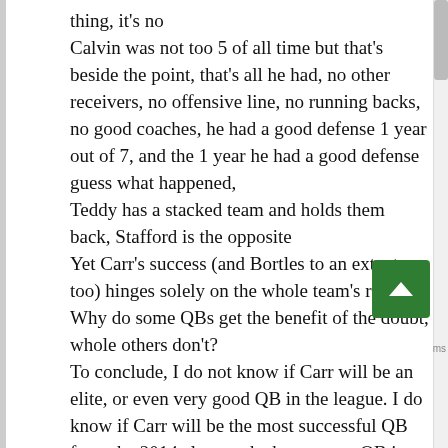thing, it's no
Calvin was not too 5 of all time but that's beside the point, that's all he had, no other receivers, no offensive line, no running backs, no good coaches, he had a good defense 1 year out of 7, and the 1 year he had a good defense guess what happened,
Teddy has a stacked team and holds them back, Stafford is the opposite
Yet Carr's success (and Bortles to an extent too) hinges solely on the whole team's record. Why do some QBs get the benefit of the doubt, whole others don't?
To conclude, I do not know if Carr will be an elite, or even very good QB in the league. I do know if Carr will be the most successful QB from the 2014 class or the best young QB in the league. I work in analytics in a legal setting and there are ways to twist any sort of statistic to